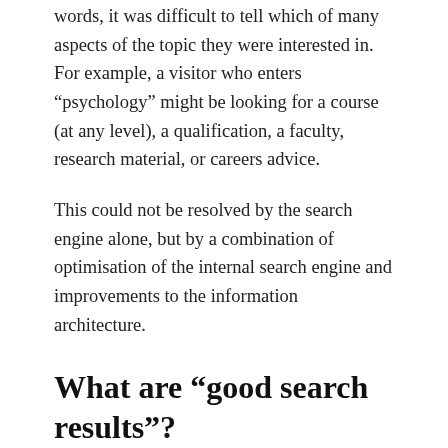words, it was difficult to tell which of many aspects of the topic they were interested in. For example, a visitor who enters “psychology” might be looking for a course (at any level), a qualification, a faculty, research material, or careers advice.
This could not be resolved by the search engine alone, but by a combination of optimisation of the internal search engine and improvements to the information architecture.
What are “good search results”?
This led us to consider the question of how we should define a “good” search result. Until we